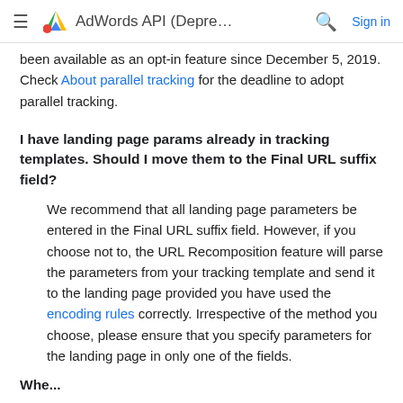AdWords API (Depre… Sign in
been available as an opt-in feature since December 5, 2019. Check About parallel tracking for the deadline to adopt parallel tracking.
I have landing page params already in tracking templates. Should I move them to the Final URL suffix field?
We recommend that all landing page parameters be entered in the Final URL suffix field. However, if you choose not to, the URL Recomposition feature will parse the parameters from your tracking template and send it to the landing page provided you have used the encoding rules correctly. Irrespective of the method you choose, please ensure that you specify parameters for the landing page in only one of the fields.
Whe...